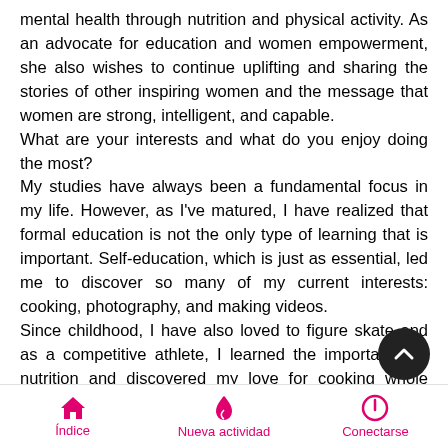mental health through nutrition and physical activity. As an advocate for education and women empowerment, she also wishes to continue uplifting and sharing the stories of other inspiring women and the message that women are strong, intelligent, and capable.
What are your interests and what do you enjoy doing the most?
My studies have always been a fundamental focus in my life. However, as I've matured, I have realized that formal education is not the only type of learning that is important. Self-education, which is just as essential, led me to discover so many of my current interests: cooking, photography, and making videos.
Since childhood, I have also loved to figure skate and as a competitive athlete, I learned the importance of nutrition and discovered my love for cooking whole meals. Combining this with my interest in photography created an Instagram account where I share creative
Índice   Nueva actividad   Conectarse